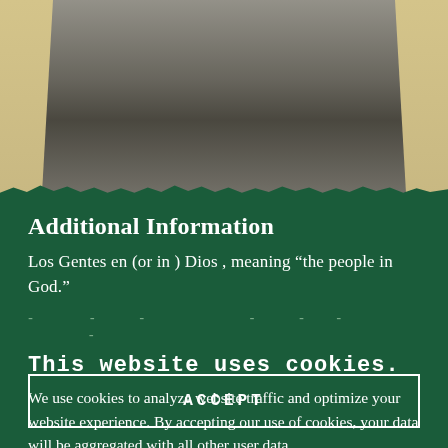[Figure (photo): Black and white photograph of people in traditional/ceremonial dress against a tan/beige background, with torn paper edges at the bottom]
Additional Information
Los Gentes en (or in ) Dios , meaning “the people in God.”
- - - - - - - - - - -
This website uses cookies.
We use cookies to analyze website traffic and optimize your website experience. By accepting our use of cookies, your data will be aggregated with all other user data.
ACCEPT